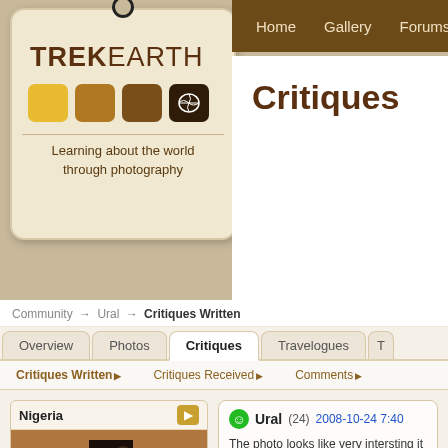[Figure (logo): TrekEarth logo tag with colored squares and globe icon. Text: TREK EARTH. Tagline: Learning about the world through photography]
Home  Gallery  Forums  C
Critiques
Community → Ural → Critiques Written
Overview  Photos  Critiques  Travelogues  T
Critiques Written ▶  Critiques Received ▶  Comments ▶
Nigeria
Ural (24) 2008-10-24 7:40
The photo looks like very intersting it is n doing, I think the meter is how looks like of happniest. Thanks for your sharing